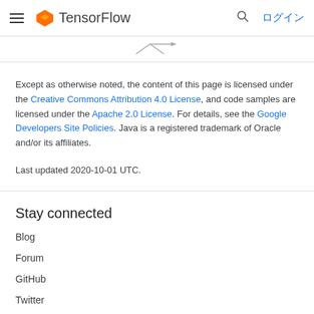TensorFlow ログイン
[Figure (illustration): Partial illustration visible at top of content area]
Except as otherwise noted, the content of this page is licensed under the Creative Commons Attribution 4.0 License, and code samples are licensed under the Apache 2.0 License. For details, see the Google Developers Site Policies. Java is a registered trademark of Oracle and/or its affiliates.
Last updated 2020-10-01 UTC.
Stay connected
Blog
Forum
GitHub
Twitter